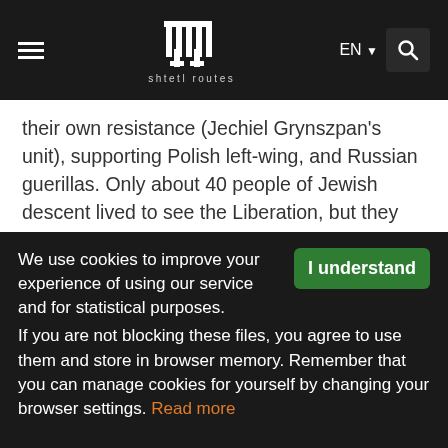shtetl routes [navigation bar with logo, EN language selector, and search icon]
their own resistance (Jechiel Grynszpan's unit), supporting Polish left-wing, and Russian guerillas. Only about 40 people of Jewish descent lived to see the Liberation, but they left the town over the following years.
Urbanism
It is unclear whether Włodawa kept its original urban planning despite the successive destruction in the wars of the first half of the 17 century and the Northern War, or its current shape is a result of the ordering rearrangements executed by the town's owners in the second half of the 18th century...
We use cookies to improve your experience of using our service and for statistical purposes. If you are not blocking these files, you agree to use them and store in browser memory. Remember that you can manage cookies for yourself by changing your browser settings. Read more